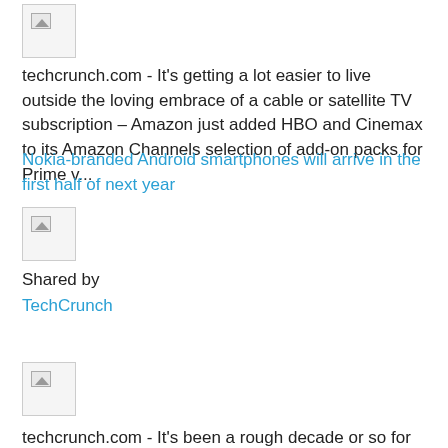[Figure (other): Broken image placeholder thumbnail]
techcrunch.com - It's getting a lot easier to live outside the loving embrace of a cable or satellite TV subscription – Amazon just added HBO and Cinemax to its Amazon Channels selection of add-on packs for Prime v...
Nokia-branded Android smartphones will arrive in the first half of next year
[Figure (other): Broken image placeholder thumbnail]
Shared by TechCrunch
[Figure (other): Broken image placeholder thumbnail]
techcrunch.com - It's been a rough decade or so for Nokia's smartphone business. In 2011, then-CEO Stephen Elop famously described the company's situation as "burning...